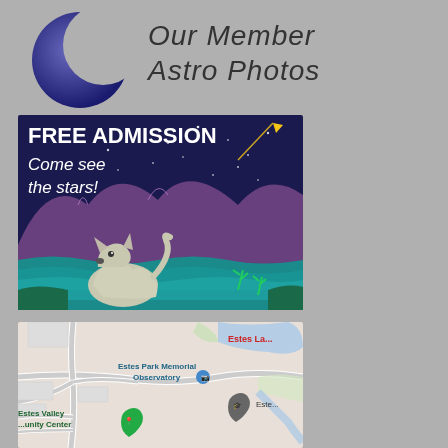[Figure (logo): Crescent moon logo with text 'Our Member Astro Photos' in cursive/script font]
[Figure (illustration): Colorful illustration with text 'FREE ADMISSION Come see the stars!' showing a dog/wolf howling at a shooting star against a night sky with mountains and water]
[Figure (map): Google Maps screenshot showing Estes Park Memorial Observatory location, Estes Lake, Estes Valley Community Center]